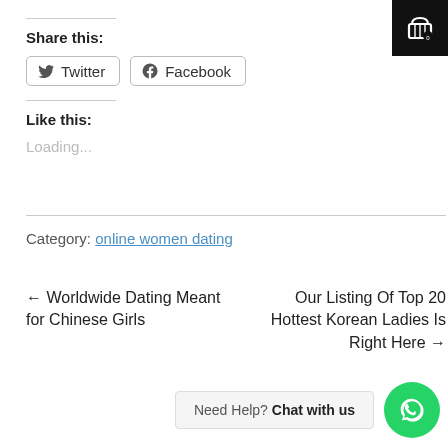Share this:
Twitter  Facebook
Like this:
Loading...
Category: online women dating
← Worldwide Dating Meant for Chinese Girls
Our Listing Of Top 20 Hottest Korean Ladies Is Right Here →
Need Help? Chat with us